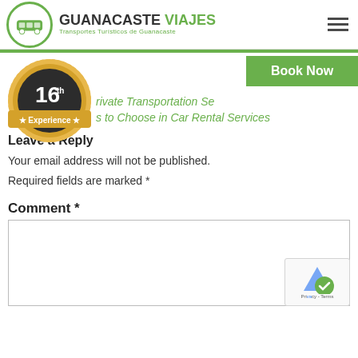[Figure (logo): Guanacaste Viajes logo with green circle bus icon and company name]
Private Transportation Services to Choose in Car Rental Services
Leave a Reply
Your email address will not be published.
Required fields are marked *
Comment *
[Figure (other): 16th Experience years badge seal]